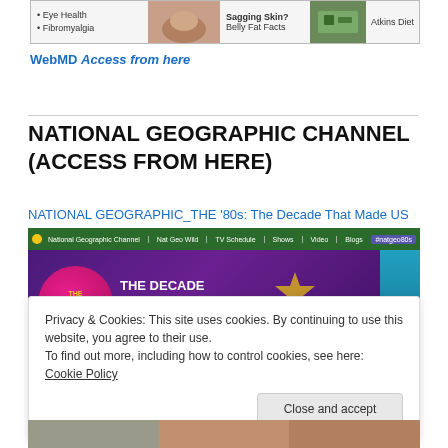[Figure (screenshot): Top strip showing WebMD website content with Eye Health, Fibromyalgia links, a belly image, Sagging Skin/Belly Fat Facts text, a food image, and Atkins Diet text]
WebMD Access from here
NATIONAL GEOGRAPHIC CHANNEL (ACCESS FROM HERE)
NATIONAL GEOGRAPHIC_THE '80s: The Decade That Made US
[Figure (screenshot): National Geographic Channel website screenshot showing navigation bar with National Geographic Channel, Nat Geo Wild, TV Schedule, Shows, Video, Blogs links, #natgeo80s hashtag, and hero banner for The '80s: The Decade That Made US with pink circle logo and purple background]
Privacy & Cookies: This site uses cookies. By continuing to use this website, you agree to their use.
To find out more, including how to control cookies, see here: Cookie Policy
Close and accept